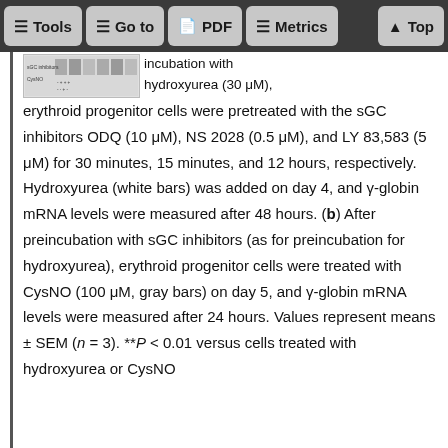Tools  Go to  PDF  Metrics  Top
[Figure (other): Small gel/blot image showing sGC inhibitors and CysNO lanes]
incubation with hydroxyurea (30 μM), erythroid progenitor cells were pretreated with the sGC inhibitors ODQ (10 μM), NS 2028 (0.5 μM), and LY 83,583 (5 μM) for 30 minutes, 15 minutes, and 12 hours, respectively. Hydroxyurea (white bars) was added on day 4, and γ-globin mRNA levels were measured after 48 hours. (b) After preincubation with sGC inhibitors (as for preincubation for hydroxyurea), erythroid progenitor cells were treated with CysNO (100 μM, gray bars) on day 5, and γ-globin mRNA levels were measured after 24 hours. Values represent means ± SEM (n = 3). **P < 0.01 versus cells treated with hydroxyurea or CysNO